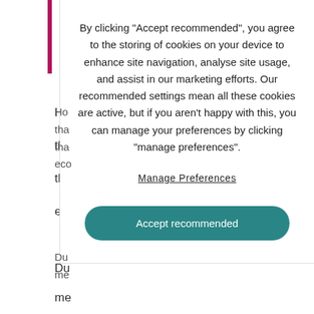By clicking "Accept recommended", you agree to the storing of cookies on your device to enhance site navigation, analyse site usage, and assist in our marketing efforts. Our recommended settings mean all these cookies are active, but if you aren't happy with this, you can manage your preferences by clicking "manage preferences".
Manage Preferences
Accept recommended